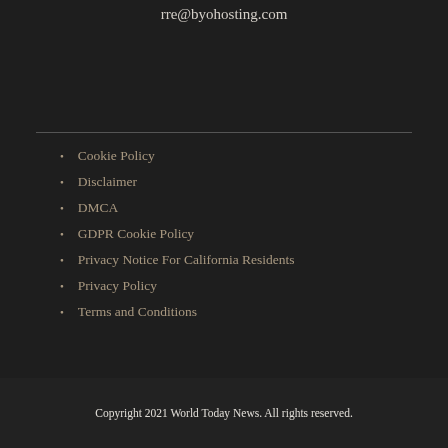rre@byohosting.com
Cookie Policy
Disclaimer
DMCA
GDPR Cookie Policy
Privacy Notice For California Residents
Privacy Policy
Terms and Conditions
Copyright 2021 World Today News. All rights reserved.